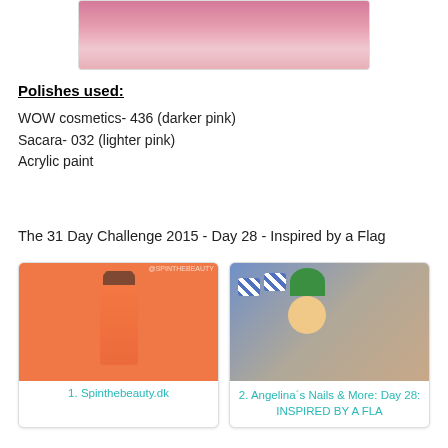[Figure (photo): Close-up photo of pink nails/nail polish, cropped at top]
Polishes used:
WOW cosmetics- 436 (darker pink)
Sacara- 032 (lighter pink)
Acrylic paint
The 31 Day Challenge 2015 - Day 28 - Inspired by a Flag
[Figure (photo): Hand holding orange OPI nail polish bottle with orange painted nails. Caption: 1. Spinthebeauty.dk]
1. Spinthebeauty.dk
[Figure (photo): Hand holding a gnome/leprechaun toy with blue and white checkered nail art on fingers. Caption: 2. Angelina´s Nails & More: Day 28: INSPIRED BY A FLA]
2. Angelina´s Nails & More: Day 28: INSPIRED BY A FLA